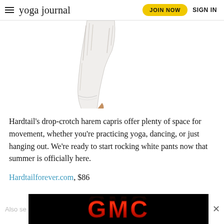yoga journal | JOIN NOW | SIGN IN
[Figure (photo): Lower body of a person wearing white tie-dye drop-crotch harem capri pants, barefoot, cropped at the waist]
Hardtail's drop-crotch harem capris offer plenty of space for movement, whether you're practicing yoga, dancing, or just hanging out. We're ready to start rocking white pants now that summer is officially here.
Hardtailforever.com, $86
[Figure (screenshot): GMC advertisement banner with red GMC logo on black background, with close button]